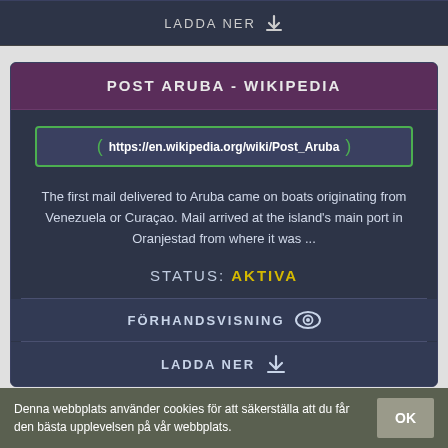LADDA NER
POST ARUBA - WIKIPEDIA
https://en.wikipedia.org/wiki/Post_Aruba
The first mail delivered to Aruba came on boats originating from Venezuela or Curaçao. Mail arrived at the island's main port in Oranjestad from where it was ...
STATUS: AKTIVA
FÖRHANDSVISNING
LADDA NER
HUR GÖR JAG EN E-POST KLICKBAR? | DINKURS.SE
Denna webbplats använder cookies för att säkerställa att du får den bästa upplevelsen på vår webbplats.
OK